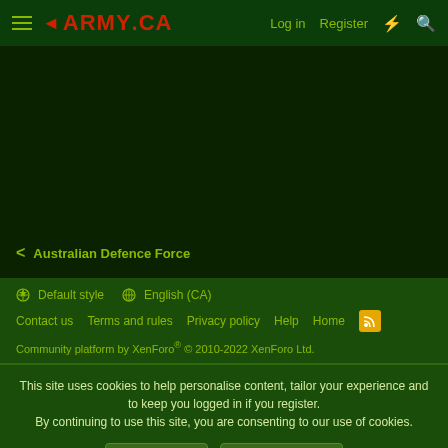◄ARMY.CA — Log in | Register
< Australian Defence Force
Default style  English (CA)
Contact us  Terms and rules  Privacy policy  Help  Home
Community platform by XenForo® © 2010-2022 XenForo Ltd.
This site uses cookies to help personalise content, tailor your experience and to keep you logged in if you register. By continuing to use this site, you are consenting to our use of cookies.
✓ Accept  Learn more...